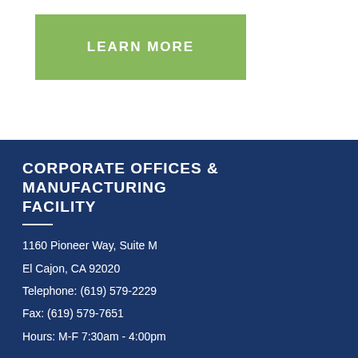[Figure (other): Green 'LEARN MORE' button]
CORPORATE OFFICES & MANUFACTURING FACILITY
1160 Pioneer Way, Suite M
El Cajon, CA 92020
Telephone: (619) 579-2229
Fax: (619) 579-7651
Hours: M-F 7:30am - 4:00pm